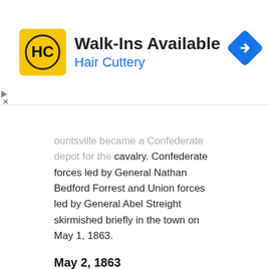[Figure (other): Hair Cuttery advertisement banner with HC logo, text 'Walk-Ins Available / Hair Cuttery', and a blue navigation diamond icon]
Huntsville became a Confederate depot for the cavalry. Confederate forces led by General Nathan Bedford Forrest and Union forces led by General Abel Streight skirmished briefly in the town on May 1, 1863.
May 2, 1863
51st and 73d Indiana and Soth Illinois Volunteers, 3d Ohio Mounted Infantry, and 1st Alabama Cavalry; skirmish during Streight's raid.
Action, Blount's Plantation